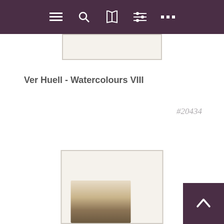Navigation bar with menu, search, book, settings, and more icons
[Figure (photo): Top portion of a framed artwork image, light cream/ivory colored, partially cropped at top]
Ver Huell - Watercolours VIII
#20434
[Figure (photo): Framed watercolour artwork showing a landscape scene with trees and ground, sepia/brown tones, lower portion visible]
[Figure (illustration): Scroll-to-top button (chevron up arrow) in dark purple square at bottom right]